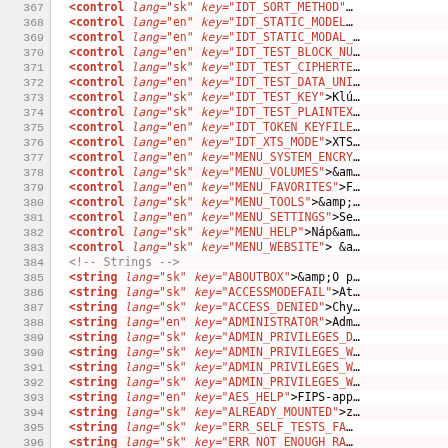Code listing lines 367-396, XML control and string elements